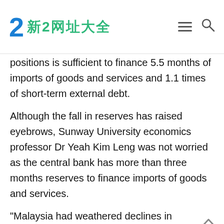新2网址大全
positions is sufficient to finance 5.5 months of imports of goods and services and 1.1 times of short-term external debt.
Although the fall in reserves has raised eyebrows, Sunway University economics professor Dr Yeah Kim Leng was not worried as the central bank has more than three months reserves to finance imports of goods and services.
“Malaysia had weathered declines in international reserves especially during the 2009 global financial crisis that were twice the present decline,” he said.
Although the fall in reserves has raised eyebrows, Sunway University economics professor Dr Yeah Kim Leng was not worried as the central bank has more than three months reserves to finance imports of goods and services. “Malaysia